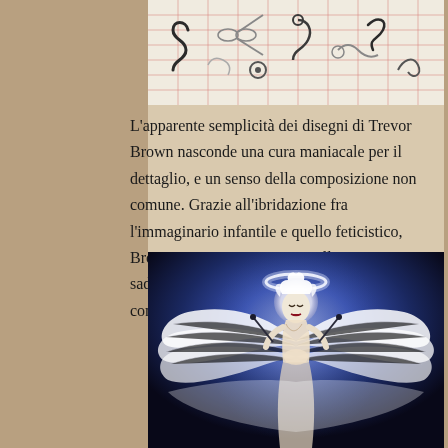[Figure (illustration): Illustration of various dark/Gothic metal implements, hooks, scissors, and curved objects arranged on a grid background with red lines. Style reminiscent of Trevor Brown artwork.]
L'apparente semplicità dei disegni di Trevor Brown nasconde una cura maniacale per il dettaglio, e un senso della composizione non comune. Grazie all'ibridazione fra l'immaginario infantile e quello feticistico, Brown riesce a interrogarci sulla natura sadica del desiderio, mettendoci a disagio con pochi, precisi elementi.
[Figure (illustration): Gothic illustration of a white-haired angel figure with large feathered wings spread wide, glowing halo, dark background with blue/purple lighting. The figure appears bound or restrained, in a dark surreal style by Trevor Brown.]